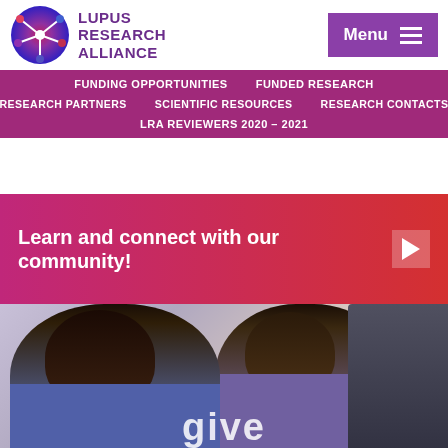[Figure (logo): Lupus Research Alliance logo - circular emblem with network/molecule design in red, blue, purple colors]
LUPUS RESEARCH ALLIANCE
Menu
FUNDING OPPORTUNITIES   FUNDED RESEARCH   RESEARCH PARTNERS   SCIENTIFIC RESOURCES   RESEARCH CONTACTS   LRA REVIEWERS 2020 – 2021
Learn and connect with our community!
[Figure (photo): Two people, a young man in foreground and a woman behind him, both looking at something off screen. Partial text 'give' visible at bottom.]